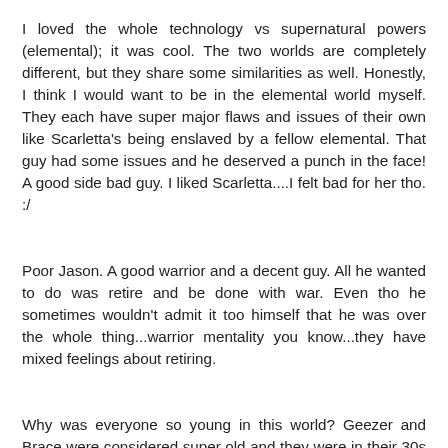I loved the whole technology vs supernatural powers (elemental); it was cool. The two worlds are completely different, but they share some similarities as well. Honestly, I think I would want to be in the elemental world myself. They each have super major flaws and issues of their own like Scarletta's being enslaved by a fellow elemental. That guy had some issues and he deserved a punch in the face! A good side bad guy. I liked Scarletta....I felt bad for her tho. :/
Poor Jason. A good warrior and a decent guy. All he wanted to do was retire and be done with war. Even tho he sometimes wouldn't admit it too himself that he was over the whole thing...warrior mentality you know...they have mixed feelings about retiring.
Why was everyone so young in this world? Geezer and Brace were considered super old and they were in their 30s and 40s! Was it because of the war that everyone died young, so they had to reproduce young? Perhaps. I couldn't